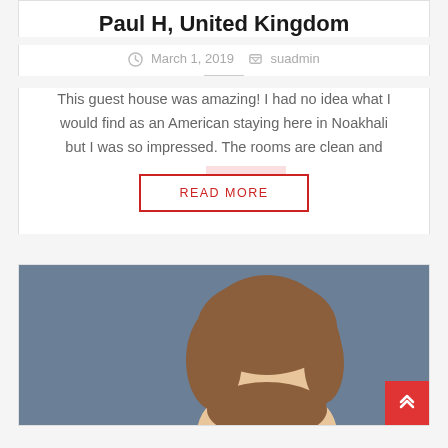Paul H, United Kingdom
March 1, 2019  suadmin
This guest house was amazing! I had no idea what I would find as an American staying here in Noakhali but I was so impressed. The rooms are clean and
READ MORE
[Figure (illustration): Cartoon illustration of a person with brown hair against a grey-blue background, shown from behind/side view]